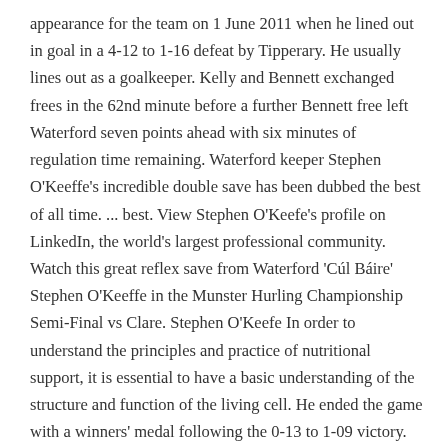appearance for the team on 1 June 2011 when he lined out in goal in a 4-12 to 1-16 defeat by Tipperary. He usually lines out as a goalkeeper. Kelly and Bennett exchanged frees in the 62nd minute before a further Bennett free left Waterford seven points ahead with six minutes of regulation time remaining. Waterford keeper Stephen O'Keeffe's incredible double save has been dubbed the best of all time. ... best. View Stephen O'Keefe's profile on LinkedIn, the world's largest professional community. Watch this great reflex save from Waterford 'Cúl Báire' Stephen O'Keeffe in the Munster Hurling Championship Semi-Final vs Clare. Stephen O'Keefe In order to understand the principles and practice of nutritional support, it is essential to have a basic understanding of the structure and function of the living cell. He ended the game with a winners' medal following the 0-13 to 1-09 victory. Stephen O'Keefe (Ballygunner) 2. O'Keeffe was 19 when Davy Fitzgerald brought him into the Waterford squad over the winter of 2010. While John